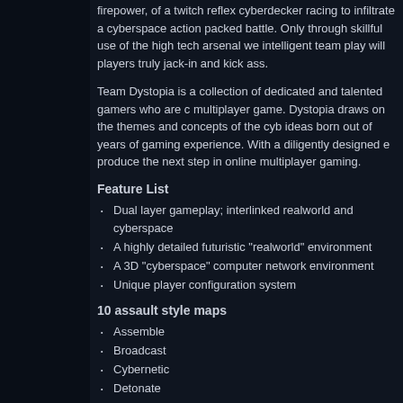firepower, of a twitch reflex cyberdecker racing to infiltrate a cyberspace action packed battle. Only through skillful use of the high tech arsenal we intelligent team play will players truly jack-in and kick ass.
Team Dystopia is a collection of dedicated and talented gamers who are creating a multiplayer game. Dystopia draws on the themes and concepts of the cyberpunk genre, ideas born out of years of gaming experience. With a diligently designed engine, produce the next step in online multiplayer gaming.
Feature List
Dual layer gameplay; interlinked realworld and cyberspace
A highly detailed futuristic "realworld" environment
A 3D "cyberspace" computer network environment
Unique player configuration system
10 assault style maps
Assemble
Broadcast
Cybernetic
Detonate
Exodus
Fortress
Injection
Silo
Undermine
Vaccine
4 Phistball-style mini maps
Dojo
Rooftop
Round
Urban Dome